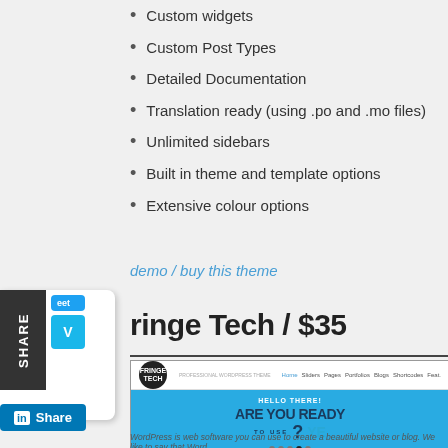Custom widgets
Custom Post Types
Detailed Documentation
Translation ready (using .po and .mo files)
Unlimited sidebars
Built in theme and template options
Extensive colour options
demo / buy this theme
Fringe Tech / $35
[Figure (screenshot): Screenshot of the Fringe Tech WordPress theme showing the header navigation, Fringe Tech logo, and a blue hero slider with the text HELLO THERE! ARE YOU READY TO USE]
WordPress is web software you can use to create a beautiful website or blog. We like to say that Word... free and priceless at the same time.